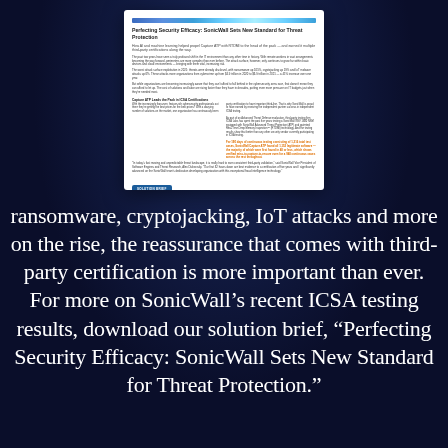[Figure (screenshot): Screenshot of a SonicWall solution brief document titled 'Perfecting Security Efficacy: SonicWall Sets New Standard for Threat Protection' showing article text and a blue decorative bar at top, with a blue 'SOLUTION BRIEF' button at bottom]
ransomware, cryptojacking, IoT attacks and more on the rise, the reassurance that comes with third-party certification is more important than ever. For more on SonicWall’s recent ICSA testing results, download our solution brief, “Perfecting Security Efficacy: SonicWall Sets New Standard for Threat Protection.”